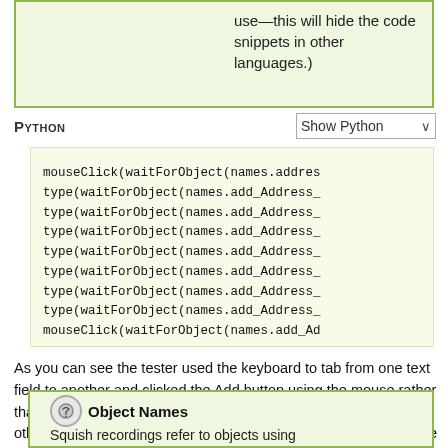use—this will hide the code snippets in other languages.)
Python
[Figure (screenshot): Dropdown selector showing 'Show Python']
mouseClick(waitForObject(names.addres
type(waitForObject(names.add_Address_
type(waitForObject(names.add_Address_
type(waitForObject(names.add_Address_
type(waitForObject(names.add_Address_
type(waitForObject(names.add_Address_
type(waitForObject(names.add_Address_
type(waitForObject(names.add_Address_
mouseClick(waitForObject(names.add_Ad
As you can see the tester used the keyboard to tab from one text field to another and clicked the Add button using the mouse rather than with a key press. If the tester had clicked the button any other way (for example, by pressing Enter), the outcome would be the same, but of course Squish will have recorded the actual actions that were taken.
Object Names
Squish recordings refer to objects using